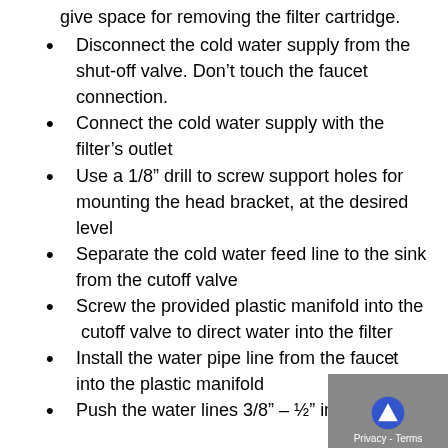give space for removing the filter cartridge.
Disconnect the cold water supply from the shut-off valve. Don’t touch the faucet connection.
Connect the cold water supply with the filter’s outlet
Use a 1/8” drill to screw support holes for mounting the head bracket, at the desired level
Separate the cold water feed line to the sink from the cutoff valve
Screw the provided plastic manifold into the  cutoff valve to direct water into the filter
Install the water pipe line from the faucet into the plastic manifold
Push the water lines 3/8” – ½” into the